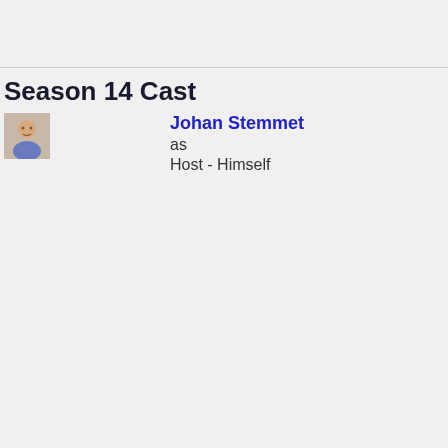Season 14 Cast
[Figure (photo): Small headshot photo of Johan Stemmet]
Johan Stemmet
as
Host - Himself